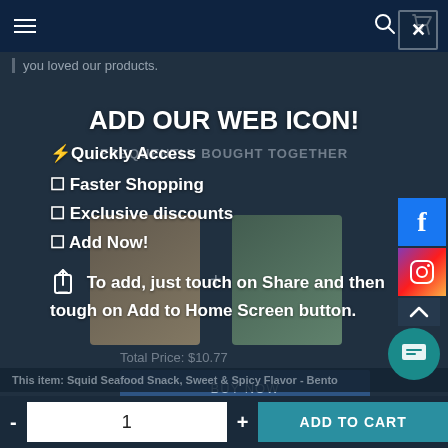Navigation bar with hamburger menu, search icon, and cart icon
you loved our products.
FREQUENTLY BOUGHT TOGETHER
ADD OUR WEB ICON!
⚡Quickly Access
⊕ Faster Shopping
⊕ Exclusive discounts
⊕ Add Now!
🔼 To add, just touch on Share and then tough on Add to Home Screen button.
Total Price: $10.77
BUY NOW
This item: Squid Seafood Snack, Sweet & Spicy Flavor - Bento
- 1 + ADD TO CART